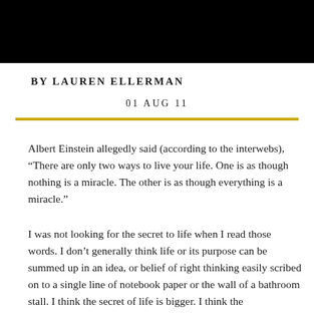BY LAUREN ELLERMAN
01 AUG 11
Albert Einstein allegedly said (according to the interwebs), “There are only two ways to live your life. One is as though nothing is a miracle. The other is as though everything is a miracle.”
I was not looking for the secret to life when I read those words. I don’t generally think life or its purpose can be summed up in an idea, or belief of right thinking easily scribed on to a single line of notebook paper or the wall of a bathroom stall. I think the secret of life is bigger. I think the